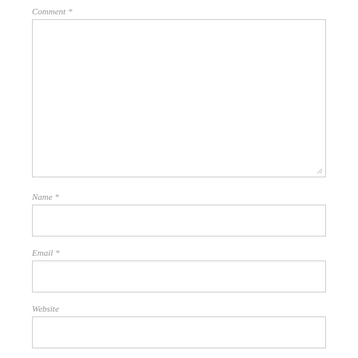Comment *
[Figure (other): Large comment textarea input box with resize handle at bottom right]
Name *
[Figure (other): Name text input box]
Email *
[Figure (other): Email text input box]
Website
[Figure (other): Website text input box]